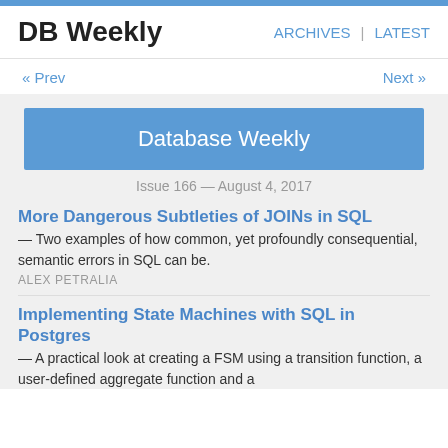DB Weekly
ARCHIVES | LATEST
« Prev
Next »
Database Weekly
Issue 166 — August 4, 2017
More Dangerous Subtleties of JOINs in SQL
— Two examples of how common, yet profoundly consequential, semantic errors in SQL can be.
ALEX PETRALIA
Implementing State Machines with SQL in Postgres
— A practical look at creating a FSM using a transition function, a user-defined aggregate function and a